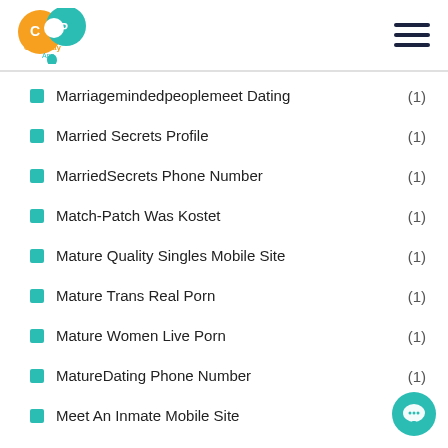Carib Pay App — navigation header with logo and hamburger menu
Marriagemindedpeoplemeet Dating (1)
Married Secrets Profile (1)
MarriedSecrets Phone Number (1)
Match-Patch Was Kostet (1)
Mature Quality Singles Mobile Site (1)
Mature Trans Real Porn (1)
Mature Women Live Porn (1)
MatureDating Phone Number (1)
Meet An Inmate Mobile Site (1)
Meet Russian Women (1)
MeetMindful Coupon (1)